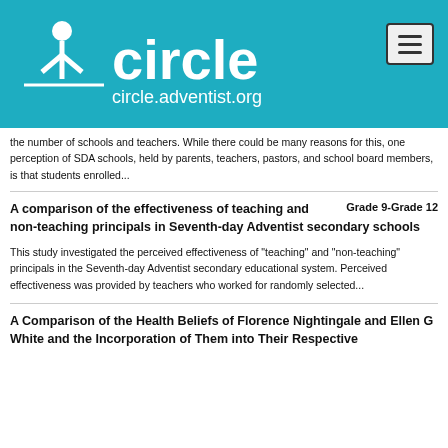[Figure (logo): Circle Adventist logo with text 'circle' and 'circle.adventist.org' on teal background]
the number of schools and teachers. While there could be many reasons for this, one perception of SDA schools, held by parents, teachers, pastors, and school board members, is that students enrolled...
A comparison of the effectiveness of teaching and non-teaching principals in Seventh-day Adventist secondary schools
Grade 9-Grade 12
This study investigated the perceived effectiveness of "teaching" and "non-teaching" principals in the Seventh-day Adventist secondary educational system. Perceived effectiveness was provided by teachers who worked for randomly selected...
A Comparison of the Health Beliefs of Florence Nightingale and Ellen G White and the Incorporation of Them into Their Respective